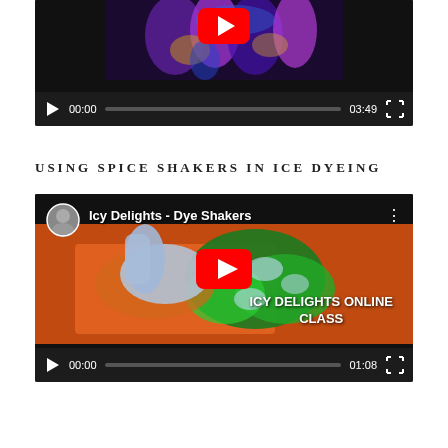[Figure (screenshot): YouTube video player showing colorful tie-dye fabric/pens, with controls showing 00:00 and duration 03:49]
USING SPICE SHAKERS IN ICE DYEING
[Figure (screenshot): YouTube video player titled 'Icy Delights - Dye Shakers' showing ice dyeing with green dye, orange tray, text overlay 'ICY DELIGHTS ONLINE CLASS', controls showing 00:00 and duration 01:08]